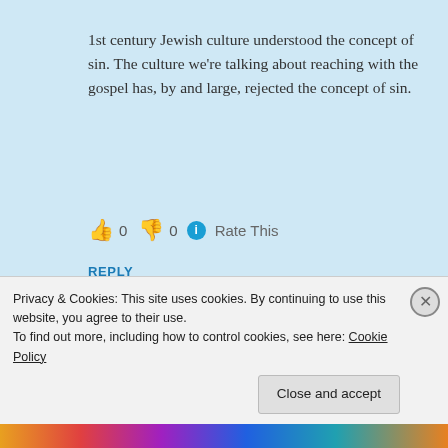1st century Jewish culture understood the concept of sin. The culture we're talking about reaching with the gospel has, by and large, rejected the concept of sin.
👍 0 👎 0 ℹ Rate This
REPLY
[Figure (photo): Circular avatar photo of Keith Brenton, a bearded man in front of bookshelves]
Keith Brenton
Privacy & Cookies: This site uses cookies. By continuing to use this website, you agree to their use.
To find out more, including how to control cookies, see here: Cookie Policy
Close and accept